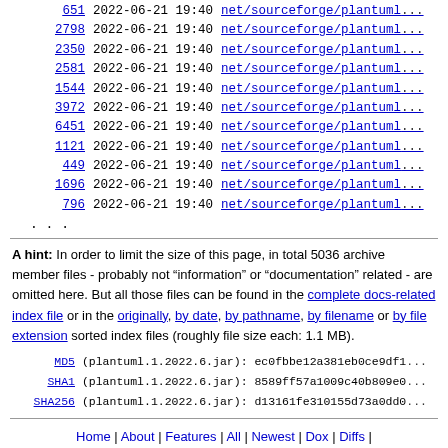| Size | Date | Path |
| --- | --- | --- |
| 651 | 2022-06-21 19:40 | net/sourceforge/plantuml... |
| 2798 | 2022-06-21 19:40 | net/sourceforge/plantuml... |
| 2350 | 2022-06-21 19:40 | net/sourceforge/plantuml... |
| 2581 | 2022-06-21 19:40 | net/sourceforge/plantuml... |
| 1544 | 2022-06-21 19:40 | net/sourceforge/plantuml... |
| 3972 | 2022-06-21 19:40 | net/sourceforge/plantuml... |
| 6451 | 2022-06-21 19:40 | net/sourceforge/plantuml... |
| 1121 | 2022-06-21 19:40 | net/sourceforge/plantuml... |
| 449 | 2022-06-21 19:40 | net/sourceforge/plantuml... |
| 1696 | 2022-06-21 19:40 | net/sourceforge/plantuml... |
| 796 | 2022-06-21 19:40 | net/sourceforge/plantuml... |
...
A hint: In order to limit the size of this page, in total 5036 archive member files - probably not "information" or "documentation" related - are omitted here. But all those files can be found in the complete docs-related index file or in the originally, by date, by pathname, by filename or by file extension sorted index files (roughly file size each: 1.1 MB).
MD5 (plantuml.1.2022.6.jar): ec0fbbe12a381eb0ce9df1...
SHA1 (plantuml.1.2022.6.jar): 8589ff57a1009c40b809e0...
SHA256 (plantuml.1.2022.6.jar): d13161fe310155d73a0dd0...
Home | About | Features | All | Newest | Dox | Diffs | Codespell | RSS Feeds | Screenshots | Comments | Imprint | Privacy | HTTP(S)